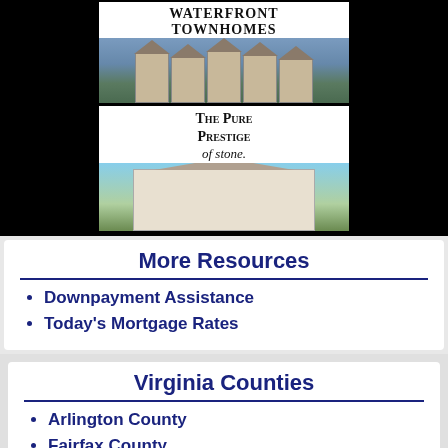[Figure (illustration): Advertisement for waterfront townhomes showing text 'WATERFRONT TOWNHOMES' and an illustrated row of townhouse buildings against a blue sky background]
[Figure (illustration): Advertisement showing 'The Pure Prestige of stone.' text with an illustration of a large stone mansion against a light sky with green foliage]
More Resources
Downpayment Assistance
Today's Mortgage Rates
Virginia Counties
Arlington County
Fairfax County
Fauquier County